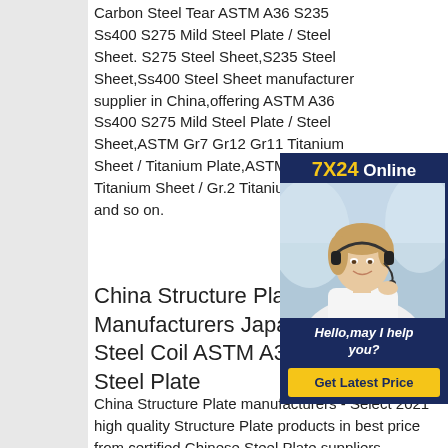Carbon Steel Tear ASTM A36 S235 Ss400 S275 Mild Steel Plate / Steel Sheet. S275 Steel Sheet,S235 Steel Sheet,Ss400 Steel Sheet manufacturer supplier in China,offering ASTM A36 Ss400 S275 Mild Steel Plate / Steel Sheet,ASTM Gr7 Gr12 Gr11 Titanium Sheet / Titanium Plate,ASTM Gr.2 Titanium Sheet / Gr.2 Titanium Plate and so on.
[Figure (photo): Customer service representative with headset, 7X24 Online chat widget with 'Hello,may I help you?' message and 'Get Latest Price' button]
China Structure Plate, Structure Manufacturers Japan MS Carbon Steel Coil ASTM A36 A53 Mild Steel Plate
China Structure Plate manufacturers - Select 2021 high quality Structure Plate products in best price from certified Chinese Steel Plate suppliers...